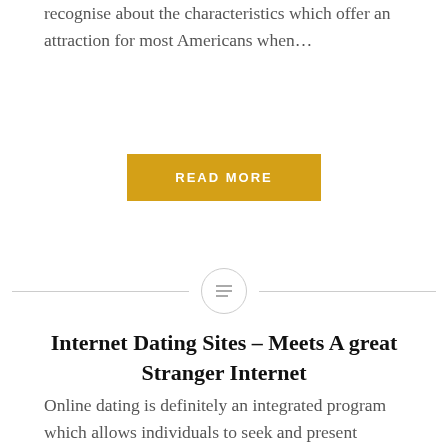recognise about the characteristics which offer an attraction for most Americans when…
READ MORE
[Figure (other): Horizontal divider line with a circular icon containing three horizontal lines (menu/list icon) centered on the line]
Internet Dating Sites – Meets A great Stranger Internet
Online dating is definitely an integrated program which allows individuals to seek and present themselves to possible charming relationships on the internet, generally with all the intention of creating intimate, warm, or loving